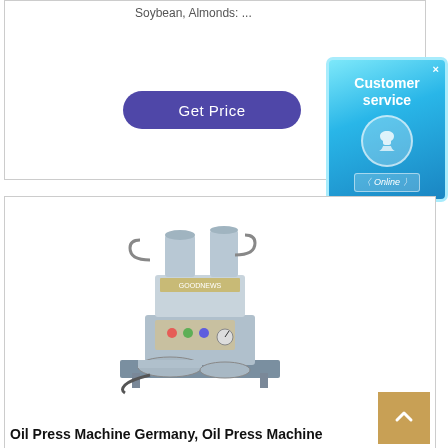Soybean, Almonds: ...
[Figure (screenshot): Blue customer service badge with phone icon and 'Online' label, showing 'Customer service' text]
[Figure (other): Purple rounded 'Get Price' button]
[Figure (photo): Oil press machine - stainless steel hydraulic oil press machine with cylindrical chambers, gauges, and collection bowls]
Oil Press Machine Germany, Oil Press Machine